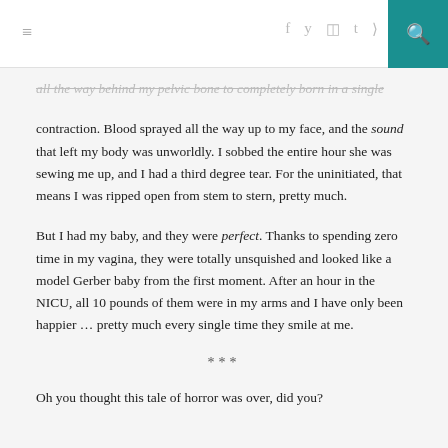≡  f  y  ☐  t  ⊃  🔍
all the way behind my pelvic bone to completely born in a single contraction. Blood sprayed all the way up to my face, and the sound that left my body was unworldly. I sobbed the entire hour she was sewing me up, and I had a third degree tear. For the uninitiated, that means I was ripped open from stem to stern, pretty much.
But I had my baby, and they were perfect. Thanks to spending zero time in my vagina, they were totally unsquished and looked like a model Gerber baby from the first moment. After an hour in the NICU, all 10 pounds of them were in my arms and I have only been happier … pretty much every single time they smile at me.
***
Oh you thought this tale of horror was over, did you?